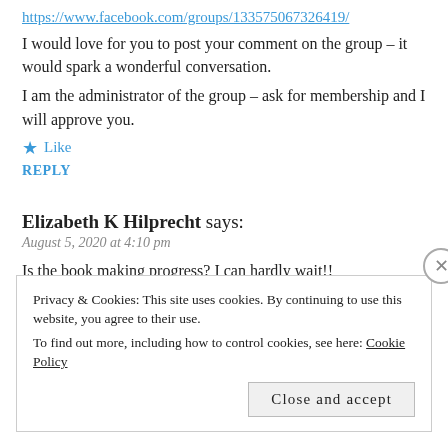https://www.facebook.com/groups/133575067326419/
I would love for you to post your comment on the group – it would spark a wonderful conversation.
I am the administrator of the group – ask for membership and I will approve you.
★ Like
REPLY
Elizabeth K Hilprecht says:
August 5, 2020 at 4:10 pm
Is the book making progress? I can hardly wait!!
★ Like
Privacy & Cookies: This site uses cookies. By continuing to use this website, you agree to their use.
To find out more, including how to control cookies, see here: Cookie Policy
Close and accept